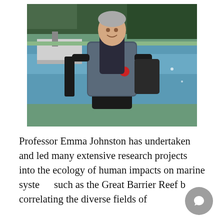[Figure (photo): Professor Emma Johnston wearing scuba diving gear (BCD vest with tank, wetsuit, holding fins), standing near a marina with boats and trees visible in the background. She has short grey hair and is smiling.]
Professor Emma Johnston has undertaken and led many extensive research projects into the ecology of human impacts on marine systems such as the Great Barrier Reef by correlating the diverse fields of